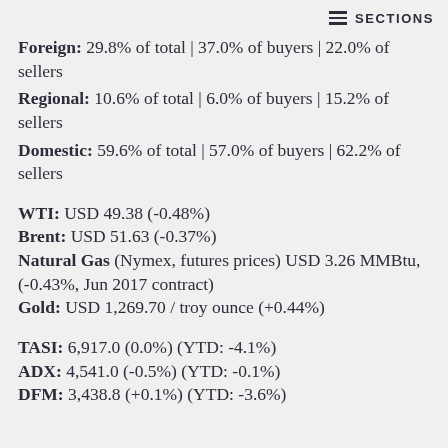SECTIONS
Foreign: 29.8% of total | 37.0% of buyers | 22.0% of sellers
Regional: 10.6% of total | 6.0% of buyers | 15.2% of sellers
Domestic: 59.6% of total | 57.0% of buyers | 62.2% of sellers
WTI: USD 49.38 (-0.48%)
Brent: USD 51.63 (-0.37%)
Natural Gas (Nymex, futures prices) USD 3.26 MMBtu, (-0.43%, Jun 2017 contract)
Gold: USD 1,269.70 / troy ounce (+0.44%)
TASI: 6,917.0 (0.0%) (YTD: -4.1%)
ADX: 4,541.0 (-0.5%) (YTD: -0.1%)
DFM: 3,438.8 (+0.1%) (YTD: -3.6%)